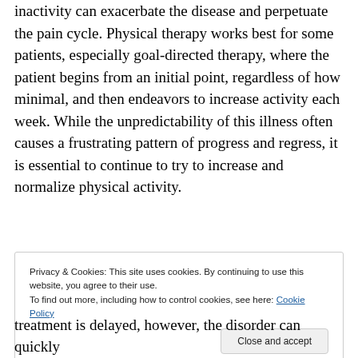inactivity can exacerbate the disease and perpetuate the pain cycle. Physical therapy works best for some patients, especially goal-directed therapy, where the patient begins from an initial point, regardless of how minimal, and then endeavors to increase activity each week. While the unpredictability of this illness often causes a frustrating pattern of progress and regress, it is essential to continue to try to increase and normalize physical activity.
[Figure (other): Advertisement banner with stylized text logo on left and gradient image with dark bar on right. 'REPORT THIS AD' text below.]
Privacy & Cookies: This site uses cookies. By continuing to use this website, you agree to their use.
To find out more, including how to control cookies, see here: Cookie Policy
Close and accept
treatment is delayed, however, the disorder can quickly